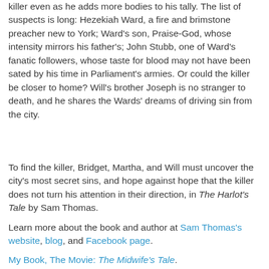killer even as he adds more bodies to his tally. The list of suspects is long: Hezekiah Ward, a fire and brimstone preacher new to York; Ward's son, Praise-God, whose intensity mirrors his father's; John Stubb, one of Ward's fanatic followers, whose taste for blood may not have been sated by his time in Parliament's armies. Or could the killer be closer to home? Will's brother Joseph is no stranger to death, and he shares the Wards' dreams of driving sin from the city.
To find the killer, Bridget, Martha, and Will must uncover the city's most secret sins, and hope against hope that the killer does not turn his attention in their direction, in The Harlot's Tale by Sam Thomas.
Learn more about the book and author at Sam Thomas's website, blog, and Facebook page.
My Book, The Movie: The Midwife's Tale.